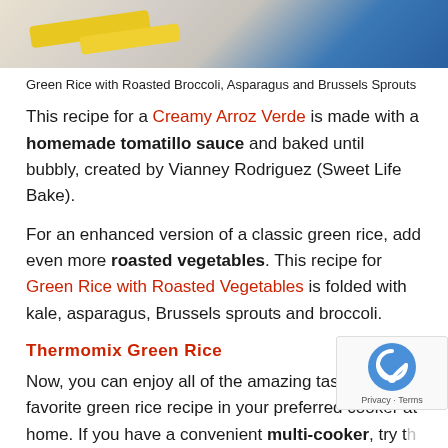[Figure (photo): Top portion of a food photo showing roasted vegetables with yellow and blue colors visible]
Green Rice with Roasted Broccoli, Asparagus and Brussels Sprouts
This recipe for a Creamy Arroz Verde is made with a homemade tomatillo sauce and baked until bubbly, created by Vianney Rodriguez (Sweet Life Bake).
For an enhanced version of a classic green rice, add even more roasted vegetables. This recipe for Green Rice with Roasted Vegetables is folded with kale, asparagus, Brussels sprouts and broccoli.
Thermomix Green Rice
Now, you can enjoy all of the amazing taste of your favorite green rice recipe in your preferred cooker at home. If you have a convenient multi-cooker, try the recipe for Thermomix Peruvian Green Arroz Con Pollo